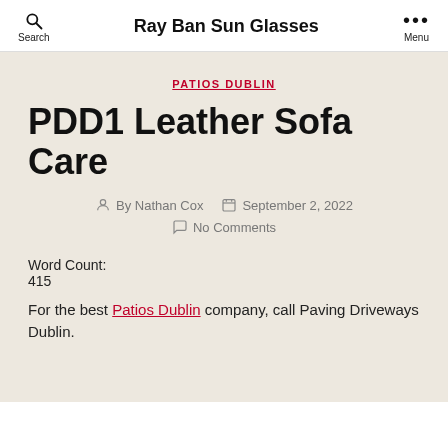Ray Ban Sun Glasses
PATIOS DUBLIN
PDD1 Leather Sofa Care
By Nathan Cox  September 2, 2022  No Comments
Word Count:
415
For the best Patios Dublin company, call Paving Driveways Dublin.